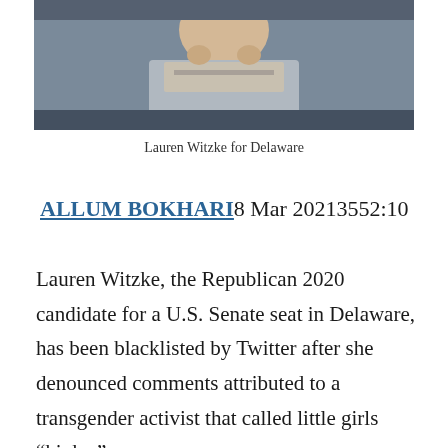[Figure (photo): Photo of Lauren Witzke with arms crossed, wearing a grey jacket, with blonde hair, outdoors]
Lauren Witzke for Delaware
ALLUM BOKHARI8 Mar 20213552:10
Lauren Witzke, the Republican 2020 candidate for a U.S. Senate seat in Delaware, has been blacklisted by Twitter after she denounced comments attributed to a transgender activist that called little girls “kinky.”